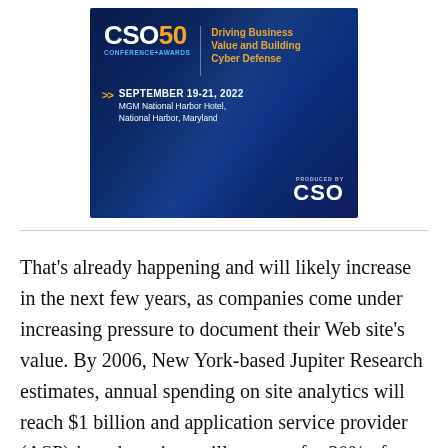[Figure (infographic): CSO50 Conference+Awards banner advertisement. Dark blue background with light streaks. Logo shows 'CSO50 CONFERENCE+AWARDS' with tagline 'Driving Business Value and Building Cyber Defense' in orange. Date: September 19-21, 2022. Location: MGM National Harbor Hotel, National Harbor, Maryland. Produced by CSO logo at bottom right.]
That's already happening and will likely increase in the next few years, as companies come under increasing pressure to document their Web site's value. By 2006, New York-based Jupiter Research estimates, annual spending on site analytics will reach $1 billion and application service provider (ASP)-based services will account for 30% of spending. Although IT...